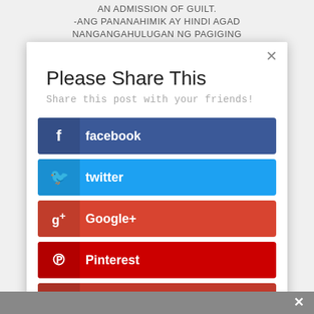AN ADMISSION OF GUILT.
-ANG PANANAHIMIK AY HINDI AGAD NANGANGAHULUGAN NG PAGIGING
Please Share This
Share this post with your friends!
facebook
twitter
Google+
Pinterest
Gmail
Yahoo Mail